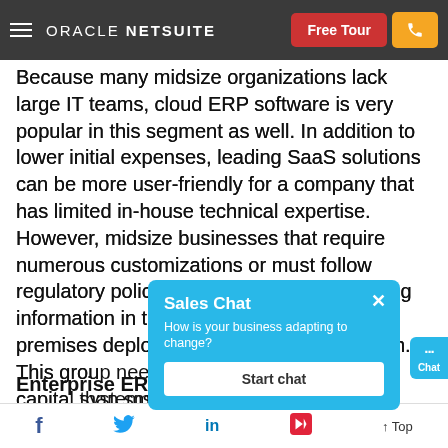ORACLE NETSUITE | Free Tour | Phone
Because many midsize organizations lack large IT teams, cloud ERP software is very popular in this segment as well. In addition to lower initial expenses, leading SaaS solutions can be more user-friendly for a company that has limited in-house technical expertise. However, midsize businesses that require numerous customizations or must follow regulatory policies that bar them from storing information in the cloud may opt for on-premises deployments or a hybrid approach. This grou[p needs] the financial and human capita[l systems] than small businesses.
[Figure (screenshot): Sales Chat popup overlay with heading 'Sales Chat', subtext 'How is your business adapting to change?', and a 'Start chat' button. Blue background with white close X button.]
Enterprise ERP: Enterprise [...]
Facebook | Twitter | LinkedIn | Flipboard | Top